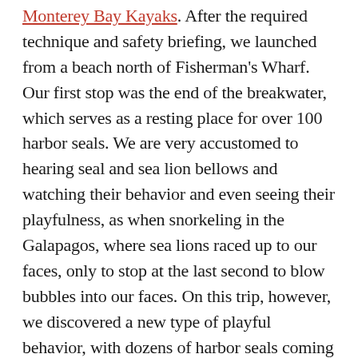Monterey Bay Kayaks. After the required technique and safety briefing, we launched from a beach north of Fisherman's Wharf. Our first stop was the end of the breakwater, which serves as a resting place for over 100 harbor seals. We are very accustomed to hearing seal and sea lion bellows and watching their behavior and even seeing their playfulness, as when snorkeling in the Galapagos, where sea lions raced up to our faces, only to stop at the last second to blow bubbles into our faces. On this trip, however, we discovered a new type of playful behavior, with dozens of harbor seals coming out to our kayaks (while maintaining respectful distance) and following us as we paddled gradually away.